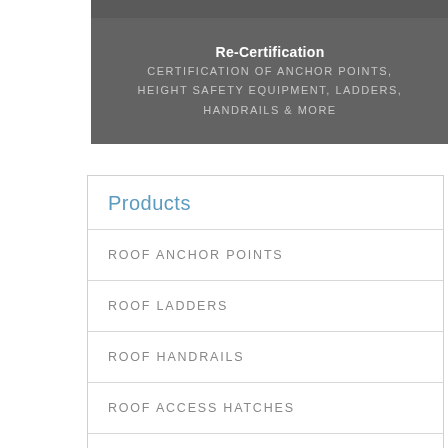Re-Certification
CERTIFICATION OF ANCHOR POINTS, HEIGHT SAFETY EQUIPMENT, LADDERS, HANDRAILS & MORE
Products
ROOF ANCHOR POINTS
ROOF LADDERS
ROOF HANDRAILS
ROOF ACCESS HATCHES
ROOF WALKWAYS